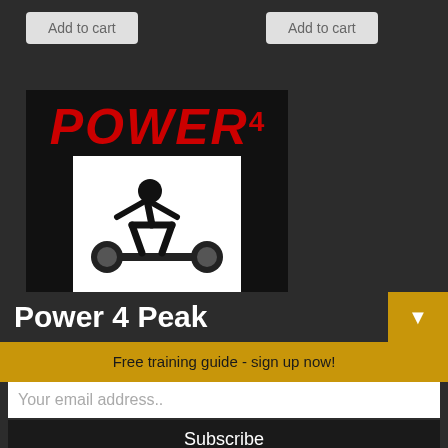[Figure (other): Two 'Add to cart' buttons on dark background]
[Figure (illustration): Power 4 Peak Program product image: black background with red bold italic 'POWER' text with superscript '4', a white box containing silhouette of weightlifter doing deadlift, and text 'PEAK Program' in white and red]
Power 4 Peak
Free training guide - sign up now!
Your email address..
Subscribe